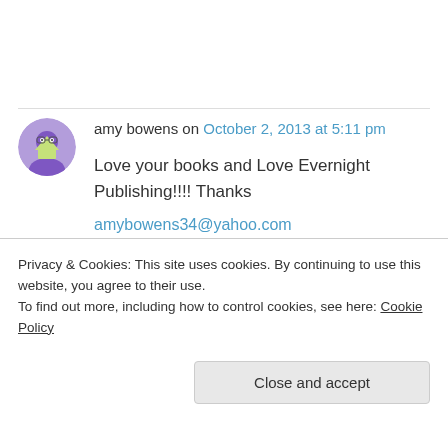amy bowens on October 2, 2013 at 5:11 pm
Love your books and Love Evernight Publishing!!!! Thanks
amybowens34@yahoo.com
↳ Reply
Privacy & Cookies: This site uses cookies. By continuing to use this website, you agree to their use.
To find out more, including how to control cookies, see here: Cookie Policy
Close and accept